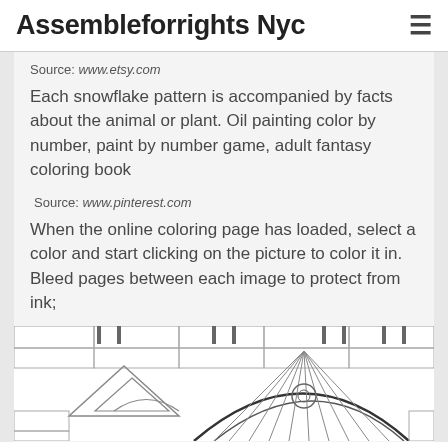Assembleforrights Nyc
Source: www.etsy.com
Each snowflake pattern is accompanied by facts about the animal or plant. Oil painting color by number, paint by number game, adult fantasy coloring book
Source: www.pinterest.com
When the online coloring page has loaded, select a color and start clicking on the picture to color it in. Bleed pages between each image to protect from ink;
[Figure (illustration): Partial coloring book line drawing showing architectural arches and curved decorative patterns, black and white outlines on white background]